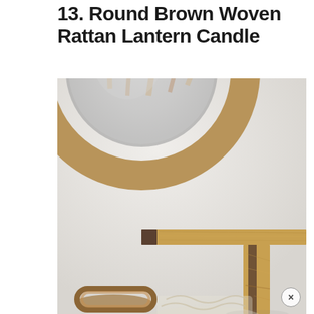13. Round Brown Woven Rattan Lantern Candle
[Figure (photo): Interior decor photo showing a round woven rattan mirror on a white wall above a natural wood console table. At the bottom, a woven rattan candle holder lantern is partially visible along with what appears to be a glass vase or candle holder. A close/dismiss button (×) is visible in the bottom right corner.]